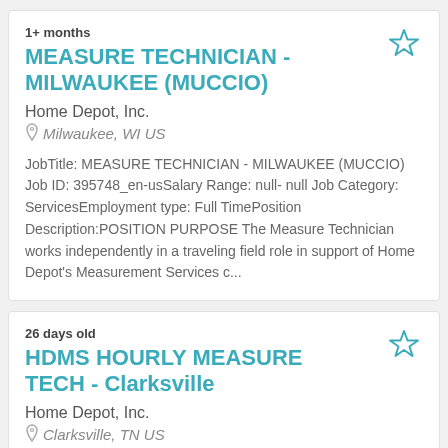1+ months
MEASURE TECHNICIAN - MILWAUKEE (MUCCIO)
Home Depot, Inc.
Milwaukee, WI US
JobTitle: MEASURE TECHNICIAN - MILWAUKEE (MUCCIO) Job ID: 395748_en-usSalary Range: null- null Job Category: ServicesEmployment type: Full TimePosition Description:POSITION PURPOSE The Measure Technician works independently in a traveling field role in support of Home Depot's Measurement Services c...
26 days old
HDMS HOURLY MEASURE TECH - Clarksville
Home Depot, Inc.
Clarksville, TN US
Job Title: HDMS HOURLY MEASURE TECH - Clarksville